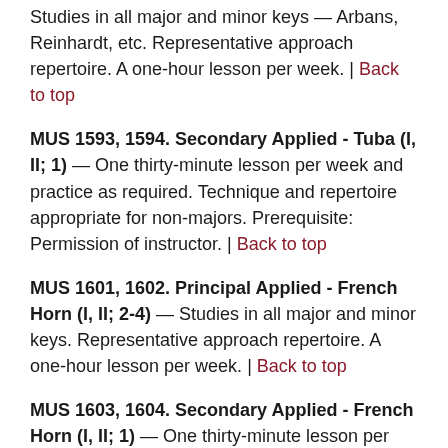Studies in all major and minor keys — Arbans, Reinhardt, etc. Representative approach repertoire. A one-hour lesson per week. | Back to top
MUS 1593, 1594. Secondary Applied - Tuba (I, II; 1) — One thirty-minute lesson per week and practice as required. Technique and repertoire appropriate for non-majors. Prerequisite: Permission of instructor. | Back to top
MUS 1601, 1602. Principal Applied - French Horn (I, II; 2-4) — Studies in all major and minor keys. Representative approach repertoire. A one-hour lesson per week. | Back to top
MUS 1603, 1604. Secondary Applied - French Horn (I, II; 1) — One thirty-minute lesson per week and practice as required. Technique and repertoire appropriate for